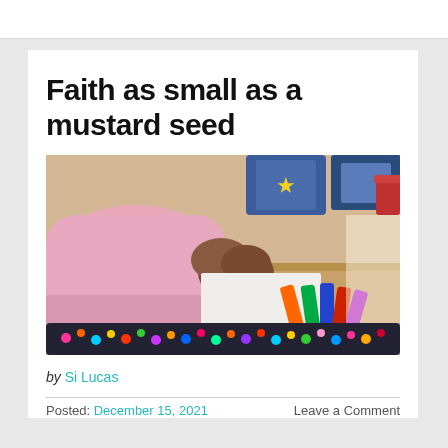Faith as small as a mustard seed
[Figure (photo): A child in a pink long-sleeve shirt sitting at a wooden desk, hands clasped, with colorful crayons and a tray of small colorful beads in the foreground. Classroom setting with colorful boxes/books blurred in background.]
by Si Lucas
Posted: December 15, 2021   Leave a Comment